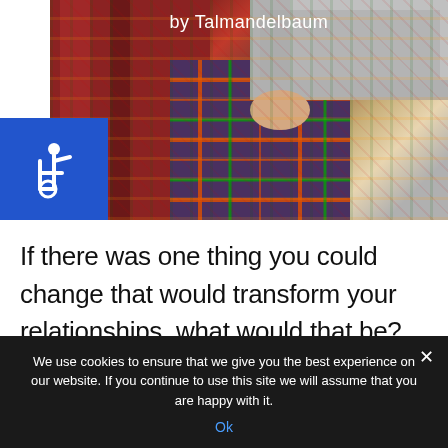[Figure (photo): Photo banner showing a person wearing a plaid/tartan skirt and grey sweater, with red curtain/fabric in background. Author text 'by Talmandelbaum' overlaid at top.]
[Figure (illustration): Blue square accessibility/wheelchair icon badge positioned over the left side of the photo banner.]
If there was one thing you could change that would transform your relationships, what would that be?
We use cookies to ensure that we give you the best experience on our website. If you continue to use this site we will assume that you are happy with it.
Ok